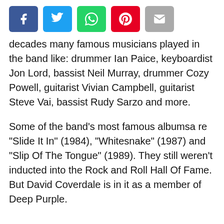[Figure (other): Social share buttons: Facebook (blue), Twitter (light blue), WhatsApp (green), Pinterest (red), Email (gray)]
decades many famous musicians played in the band like: drummer Ian Paice, keyboardist Jon Lord, bassist Neil Murray, drummer Cozy Powell, guitarist Vivian Campbell, guitarist Steve Vai, bassist Rudy Sarzo and more.
Some of the band’s most famous albumsa re “Slide It In” (1984), “Whitesnake” (1987) and “Slip Of The Tongue” (1989). They still weren’t inducted into the Rock and Roll Hall Of Fame. But David Coverdale is in it as a member of Deep Purple.